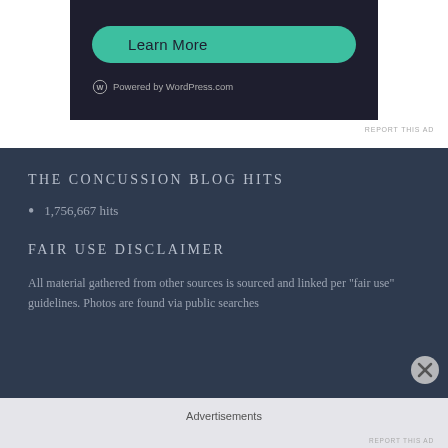[Figure (screenshot): Advertisement banner with dark background (#1e1e2e) showing a 'Learn More' teal rounded button and 'Powered by WordPress.com' text with WordPress logo]
REPORT THIS AD
THE CONCUSSION BLOG HITS
1,756,667 hits
FAIR USE DISCLAIMER
All material gathered from other sources is sourced and linked per "fair use" guidelines. Photos are found via public searches
Advertisements
REPORT THIS AD